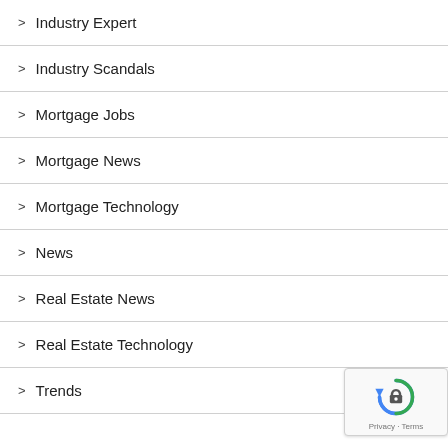Industry Expert
Industry Scandals
Mortgage Jobs
Mortgage News
Mortgage Technology
News
Real Estate News
Real Estate Technology
Trends